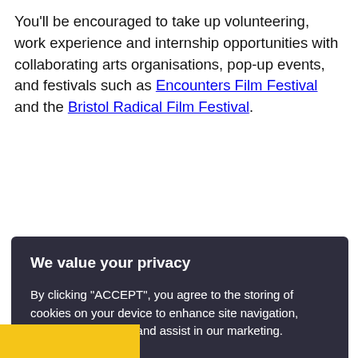You'll be encouraged to take up volunteering, work experience and internship opportunities with collaborating arts organisations, pop-up events, and festivals such as Encounters Film Festival and the Bristol Radical Film Festival.
We value your privacy
By clicking "ACCEPT", you agree to the storing of cookies on your device to enhance site navigation, analyse site usage, and assist in our marketing.
ACCEPT
VIEW COOKIE SETTINGS